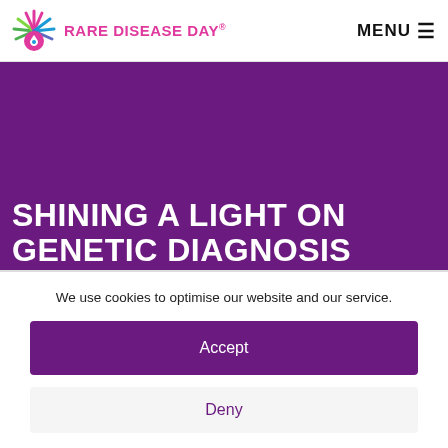RARE DISEASE DAY® MENU ☰
[Figure (logo): Rare Disease Day logo: colorful hand with rays and a teardrop, with pink text 'RARE DISEASE DAY®']
SHINING A LIGHT ON GENETIC DIAGNOSIS
We use cookies to optimise our website and our service.
Accept
Deny